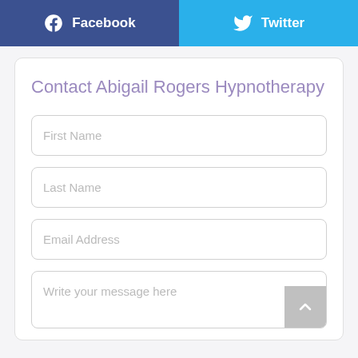[Figure (infographic): Facebook and Twitter social share buttons side by side]
Contact Abigail Rogers Hypnotherapy
First Name
Last Name
Email Address
Write your message here